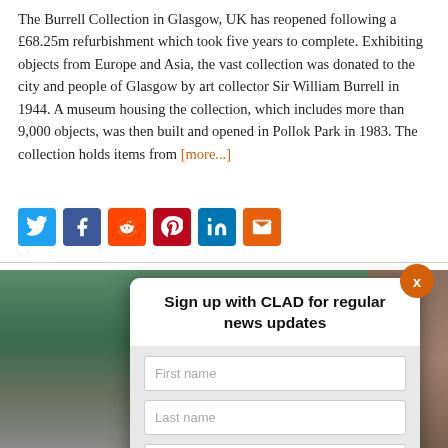The Burrell Collection in Glasgow, UK has reopened following a £68.25m refurbishment which took five years to complete. Exhibiting objects from Europe and Asia, the vast collection was donated to the city and people of Glasgow by art collector Sir William Burrell in 1944. A museum housing the collection, which includes more than 9,000 objects, was then built and opened in Pollok Park in 1983. The collection holds items from [more...]
[Figure (infographic): Social sharing icons row: Twitter (blue), Facebook (dark blue), Reddit (orange-red), Pinterest (red), LinkedIn (blue), Email (orange)]
[Figure (screenshot): Modal dialog: 'Sign up with CLAD for regular news updates' with First name, Last name, Email fields and a SIGN UP button. Orange X close button top right. Background shows outdoor nature/building photo.]